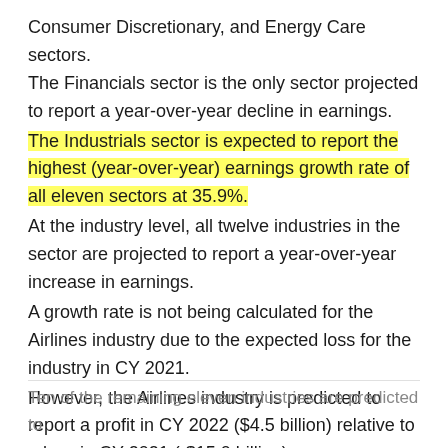Consumer Discretionary, and Energy Care sectors. The Financials sector is the only sector projected to report a year-over-year decline in earnings.
The Industrials sector is expected to report the highest (year-over-year) earnings growth rate of all eleven sectors at 35.9%.
At the industry level, all twelve industries in the sector are projected to report a year-over-year increase in earnings.
A growth rate is not being calculated for the Airlines industry due to the expected loss for the industry in CY 2021.
However, the Airlines industry is predicted to report a profit in CY 2022 ($4.5 billion) relative to a loss in CY 2021 (-$15.0 billion).
Ten of the remaining eleven industries are predicted to